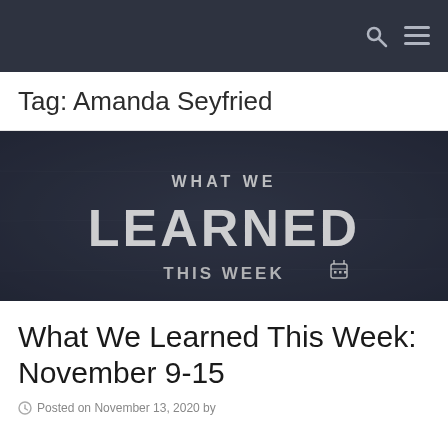Tag: Amanda Seyfried
[Figure (illustration): Chalkboard-style banner image with text 'WHAT WE LEARNED THIS WEEK' with a calendar icon, dark slate background.]
What We Learned This Week: November 9-15
Posted on November 13, 2020 by